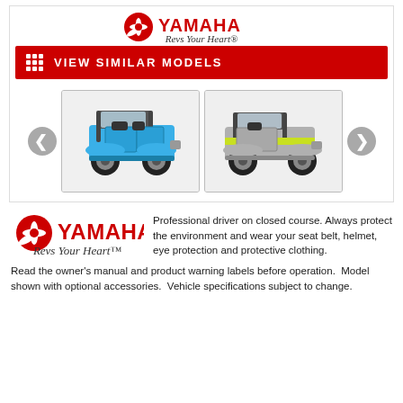[Figure (logo): Yamaha logo with 'Revs Your Heart' tagline at top of card]
[Figure (other): Red button with grid icon and text 'VIEW SIMILAR MODELS']
[Figure (photo): Two side-view UTV vehicles: left one blue, right one gray/green, with left/right navigation arrows]
[Figure (logo): Yamaha logo with 'Revs Your Heart' tagline in bottom section]
Professional driver on closed course. Always protect the environment and wear your seat belt, helmet, eye protection and protective clothing. Read the owner's manual and product warning labels before operation. Model shown with optional accessories. Vehicle specifications subject to change.